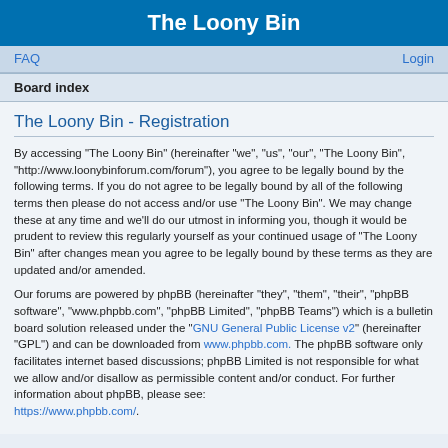The Loony Bin
FAQ   Login
Board index
The Loony Bin - Registration
By accessing “The Loony Bin” (hereinafter “we”, “us”, “our”, “The Loony Bin”, “http://www.loonybinforum.com/forum”), you agree to be legally bound by the following terms. If you do not agree to be legally bound by all of the following terms then please do not access and/or use “The Loony Bin”. We may change these at any time and we’ll do our utmost in informing you, though it would be prudent to review this regularly yourself as your continued usage of “The Loony Bin” after changes mean you agree to be legally bound by these terms as they are updated and/or amended.
Our forums are powered by phpBB (hereinafter “they”, “them”, “their”, “phpBB software”, “www.phpbb.com”, “phpBB Limited”, “phpBB Teams”) which is a bulletin board solution released under the “GNU General Public License v2” (hereinafter “GPL”) and can be downloaded from www.phpbb.com. The phpBB software only facilitates internet based discussions; phpBB Limited is not responsible for what we allow and/or disallow as permissible content and/or conduct. For further information about phpBB, please see: https://www.phpbb.com/.